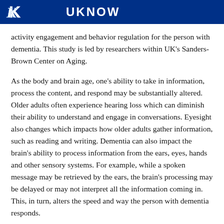UK UKNOW
activity engagement and behavior regulation for the person with dementia. This study is led by researchers within UK's Sanders-Brown Center on Aging.
As the body and brain age, one's ability to take in information, process the content, and respond may be substantially altered. Older adults often experience hearing loss which can diminish their ability to understand and engage in conversations. Eyesight also changes which impacts how older adults gather information, such as reading and writing. Dementia can also impact the brain's ability to process information from the ears, eyes, hands and other sensory systems. For example, while a spoken message may be retrieved by the ears, the brain's processing may be delayed or may not interpret all the information coming in. This, in turn, alters the speed and way the person with dementia responds.
A multi-sensory approach can increase success when